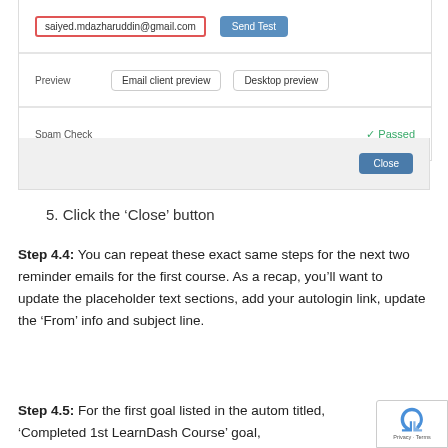[Figure (screenshot): UI panel showing email input field with 'saiyed.mdazharuddin@gmail.com' highlighted in red border and 'Send Test' button; Preview row with 'Email client preview' and 'Desktop preview' buttons; Spam Check row with green checkmark 'Passed']
[Figure (screenshot): Gray bar with 'Close' button on the right]
5. Click the ‘Close’ button
Step 4.4: You can repeat these exact same steps for the next two reminder emails for the first course. As a recap, you’ll want to update the placeholder text sections, add your autologin link, update the ‘From’ info and subject line.
Step 4.5: For the first goal listed in the autom titled, ‘Completed 1st LearnDash Course’ goal,